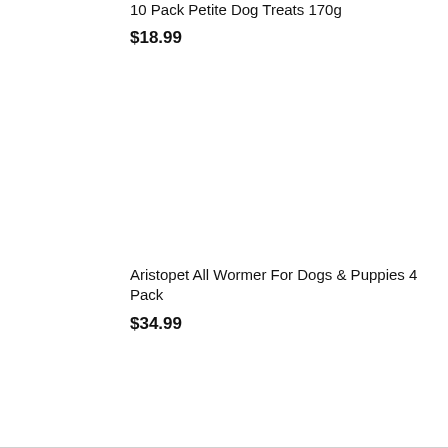10 Pack Petite Dog Treats 170g
$18.99
Aristopet All Wormer For Dogs & Puppies 4 Pack
$34.99